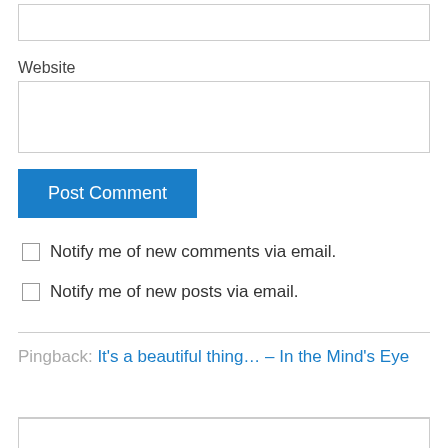[partial input box at top]
Website
Post Comment
Notify me of new comments via email.
Notify me of new posts via email.
Pingback: It's a beautiful thing… – In the Mind's Eye
[partial input box at bottom]